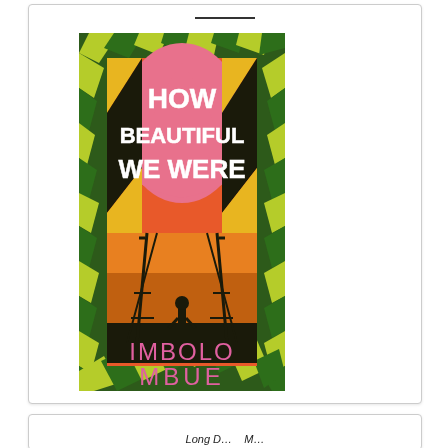[Figure (illustration): Book cover of 'How Beautiful We Were' by Imbolo Mbue. Features bold leaf and chevron border pattern in yellow-green and dark green. Central image shows pink-orange flame shape with white bold text 'HOW BEAUTIFUL WE WERE'. Below is an orange sunset with silhouette of oil derricks and a child figure. Pink stylized text at bottom reads 'IMBOLO MBUE'.]
Long D... M...